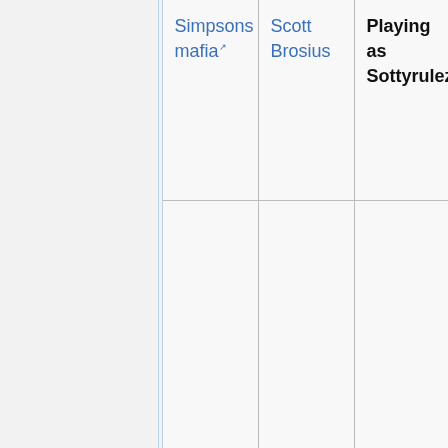|  |  | Simpsons mafia | Scott Brosius | Playing as Sottyrulez |
| --- | --- | --- | --- | --- |
|  |  | Simpsons mafia [link] | Scott Brosius | Playing as Sottyrulez |
|  |  |  |  |  |